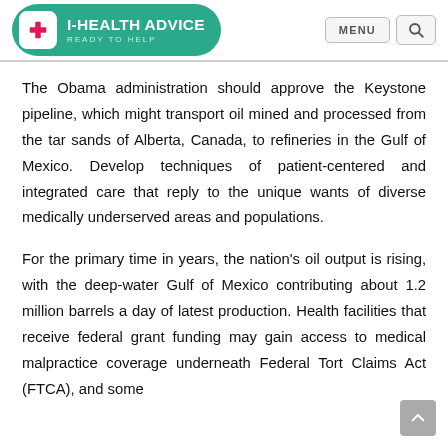I-HEALTH ADVICE — READY TO HELP
The Obama administration should approve the Keystone pipeline, which might transport oil mined and processed from the tar sands of Alberta, Canada, to refineries in the Gulf of Mexico. Develop techniques of patient-centered and integrated care that reply to the unique wants of diverse medically underserved areas and populations.
For the primary time in years, the nation's oil output is rising, with the deep-water Gulf of Mexico contributing about 1.2 million barrels a day of latest production. Health facilities that receive federal grant funding may gain access to medical malpractice coverage underneath Federal Tort Claims Act (FTCA), and some